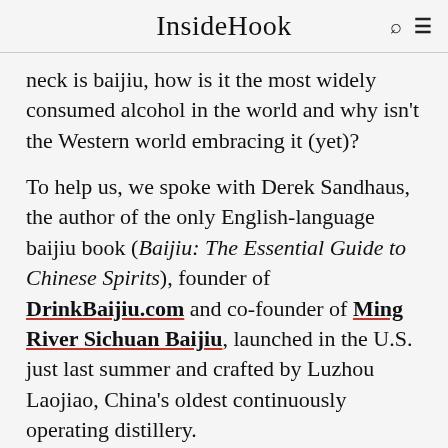InsideHook
neck is baijiu, how is it the most widely consumed alcohol in the world and why isn't the Western world embracing it (yet)?
To help us, we spoke with Derek Sandhaus, the author of the only English-language baijiu book (Baijiu: The Essential Guide to Chinese Spirits), founder of DrinkBaijiu.com and co-founder of Ming River Sichuan Baijiu, launched in the U.S. just last summer and crafted by Luzhou Laojiao, China's oldest continuously operating distillery.